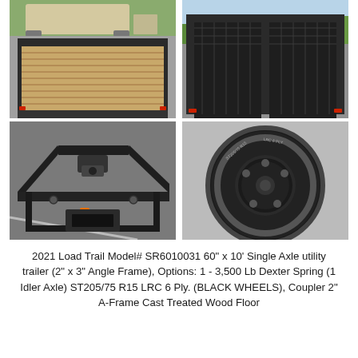[Figure (photo): Top-left: Utility trailer from front/top angle showing wood floor deck and black metal frame, with a fifth-wheel RV visible in background parking lot.]
[Figure (photo): Top-right: Rear view of utility trailer showing mesh/expanded metal gate/ramp, black powder-coat frame, red marker lights, parking lot and trees in background.]
[Figure (photo): Bottom-left: Close-up of trailer hitch/coupler area showing black A-frame tongue, hitch receiver, and orange marker light.]
[Figure (photo): Bottom-right: Close-up of trailer tire and black wheel — ST205/75 R15, showing tire sidewall text and black steel wheel with lug bolts.]
2021 Load Trail Model# SR6010031 60" x 10' Single Axle utility trailer (2" x 3" Angle Frame), Options: 1 - 3,500 Lb Dexter Spring (1 Idler Axle) ST205/75 R15 LRC 6 Ply. (BLACK WHEELS), Coupler 2" A-Frame Cast Treated Wood Floor